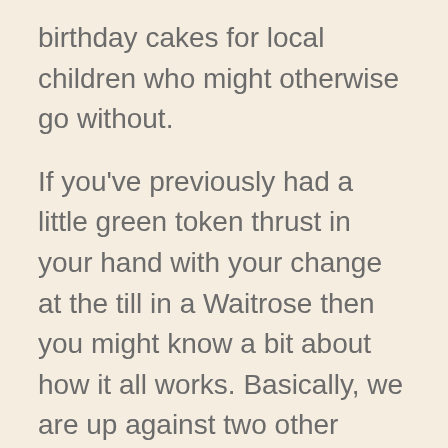birthday cakes for local children who might otherwise go without.
If you've previously had a little green token thrust in your hand with your change at the till in a Waitrose then you might know a bit about how it all works. Basically, we are up against two other organisations/charities. Shoppers deposit their token, which they are given when they check out, in the box on the way out of the store under the name of the one organisation out of the three that they like the sound of most. The more tokens we get the